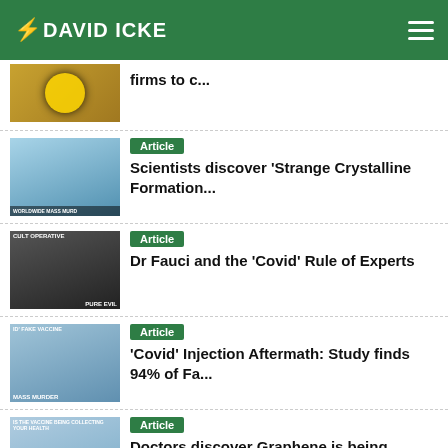DAVID ICKE
firms to c...
Article — Scientists discover 'Strange Crystalline Formation...
Article — Dr Fauci and the 'Covid' Rule of Experts
Article — 'Covid' Injection Aftermath: Study finds 94% of Fa...
Article — Doctors discover Graphene is being transmitted fro...